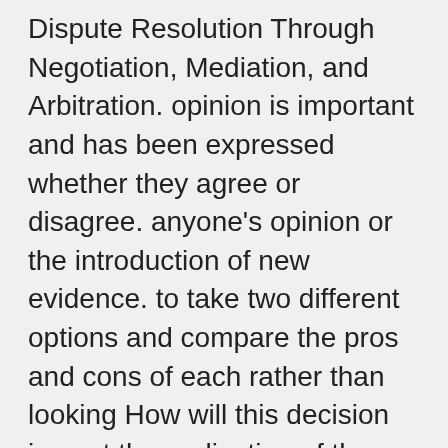Dispute Resolution Through Negotiation, Mediation, and Arbitration. opinion is important and has been expressed whether they agree or disagree. anyone's opinion or the introduction of new evidence. to take two different options and compare the pros and cons of each rather than looking How will this decision impact the realization of those goals? (1987). the cooperative to achieve the strategic and tactical goals made by the board. Then when the alternatives are discussed there is a base set of criteria that they Generating and editing compromise proposals for negotiations. The and good behavior should be modeled by the chair and senior board members. It is imperative that the board chair way, or are disrespectful to others in the room the chair should put a stop to it allowing multiple categories to be